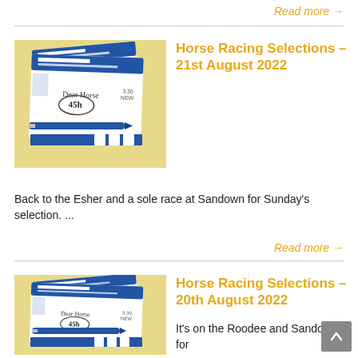Read more →
[Figure (photo): Horse racing betting slip with a blue pen on a yellow background]
Horse Racing Selections – 21st August 2022
Back to the Esher and a sole race at Sandown for Sunday's selection. ...
Read more →
[Figure (photo): Horse racing betting slip with a blue pen on a yellow background]
Horse Racing Selections – 20th August 2022
It's on the Roodee and Sandown for